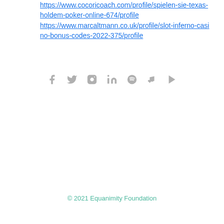https://www.cocoricoach.com/profile/spielen-sie-texas-holdem-poker-online-674/profile https://www.marcaltmann.co.uk/profile/slot-inferno-casino-bonus-codes-2022-375/profile
[Figure (other): Row of social media icons: Facebook, Twitter, Instagram, LinkedIn, Spotify, Apple Music, Google Play]
© 2021 Equanimity Foundation